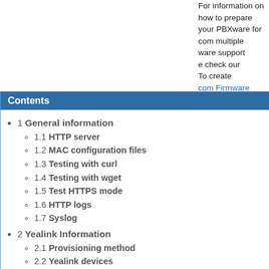For information on how to prepare your PBXware for .com multiple .ware support .e check our .To create .com Firmware
Contents
1 General information
1.1 HTTP server
1.2 MAC configuration files
1.3 Testing with curl
1.4 Testing with wget
1.5 Test HTTPS mode
1.6 HTTP logs
1.7 Syslog
2 Yealink Information
2.1 Provisioning method
2.2 Yealink devices
2.3 Supported features
3 Polycom Information
3.1 Provisioning method
3.2 Polycom devices
3.3 Supported features
E: If you are not how to create .com firmware .age please .act our support .ve will be glad .lp you.
/Linksys .mation